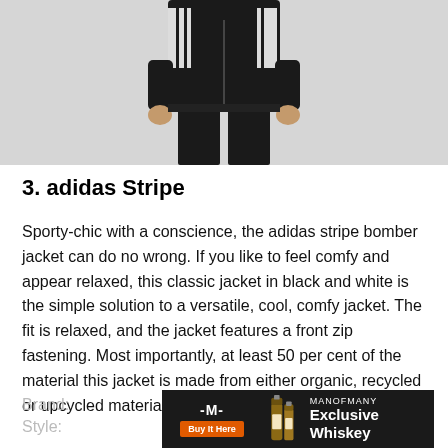[Figure (photo): Person wearing a black adidas stripe tracksuit (jacket and pants), standing against a light grey background. The image is cropped to show from chest/shoulders down to ankles.]
3. adidas Stripe
Sporty-chic with a conscience, the adidas stripe bomber jacket can do no wrong. If you like to feel comfy and appear relaxed, this classic jacket in black and white is the simple solution to a versatile, cool, comfy jacket. The fit is relaxed, and the jacket features a front zip fastening. Most importantly, at least 50 per cent of the material this jacket is made from either organic, recycled or upcycled material.
Brand:
Style:
[Figure (other): Black advertisement banner for MANOFMANY Exclusive Whiskey. Contains the Man of Many logo (M symbol), a Buy It Here orange button, whiskey bottle images, and text reading MANOFMANY Exclusive Whiskey.]